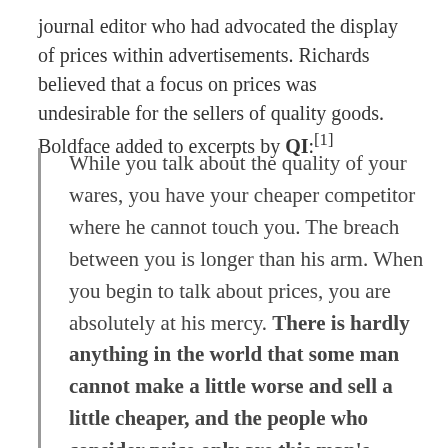journal editor who had advocated the display of prices within advertisements. Richards believed that a focus on prices was undesirable for the sellers of quality goods. Boldface added to excerpts by QI:[1]
While you talk about the quality of your wares, you have your cheaper competitor where he cannot touch you. The breach between you is longer than his arm. When you begin to talk about prices, you are absolutely at his mercy. There is hardly anything in the world that some man cannot make a little worse and sell a little cheaper, and the people who consider price only are this man's lawful prey. This is the doctrine of